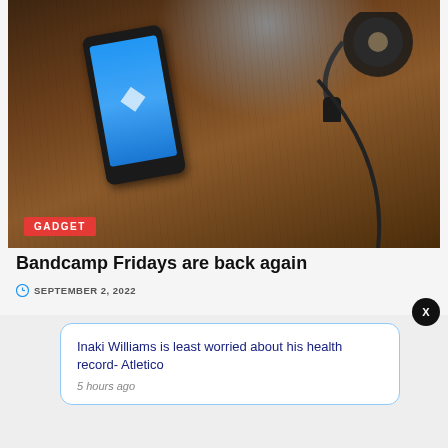[Figure (photo): Photo of a smartphone with blue screen lying on a wooden surface next to black Marshall headphones. A red 'GADGET' badge overlays the bottom-left of the image.]
Bandcamp Fridays are back again
SEPTEMBER 2, 2022
Inaki Williams is least worried about his health record- Atletico
5 hours ago